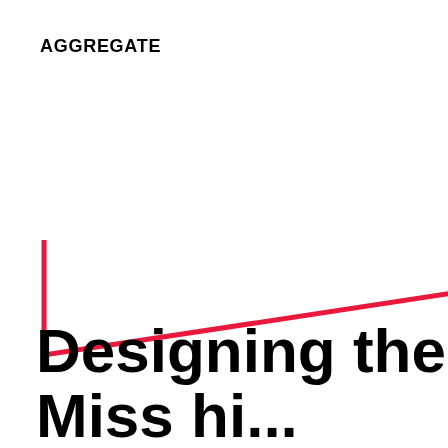AGGREGATE
[Figure (illustration): Red L-shaped bracket/corner mark, with a horizontal line extending to the right from the top of the L, forming a decorative graphic element]
Designing the G
Miss hi...